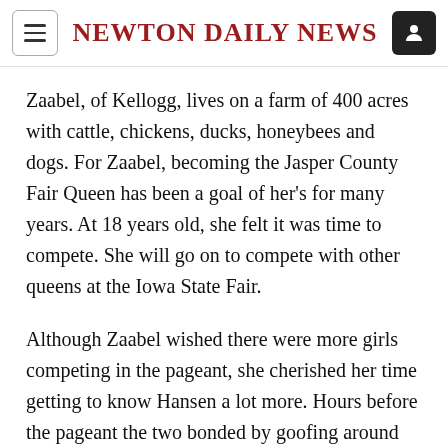Newton Daily News
Zaabel, of Kellogg, lives on a farm of 400 acres with cattle, chickens, ducks, honeybees and dogs. For Zaabel, becoming the Jasper County Fair Queen has been a goal of her's for many years. At 18 years old, she felt it was time to compete. She will go on to compete with other queens at the Iowa State Fair.
Although Zaabel wished there were more girls competing in the pageant, she cherished her time getting to know Hansen a lot more. Hours before the pageant the two bonded by goofing around with the